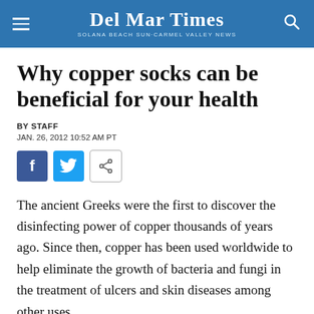Del Mar Times — Solana Beach Sun-Carmel Valley News
Why copper socks can be beneficial for your health
BY STAFF
JAN. 26, 2012 10:52 AM PT
[Figure (other): Social sharing buttons: Facebook, Twitter, and a generic share icon]
The ancient Greeks were the first to discover the disinfecting power of copper thousands of years ago. Since then, copper has been used worldwide to help eliminate the growth of bacteria and fungi in the treatment of ulcers and skin diseases among other uses.